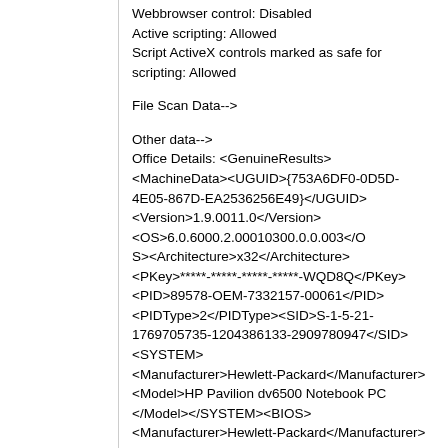Webbrowser control: Disabled
Active scripting: Allowed
Script ActiveX controls marked as safe for scripting: Allowed
File Scan Data-->
Other data-->
Office Details: <GenuineResults><MachineData><UGUID>{753A6DF0-0D5D-4E05-867D-EA2536256E49}</UGUID><Version>1.9.0011.0</Version><OS>6.0.6000.2.00010300.0.0.003</OS><Architecture>x32</Architecture><PKey>*****-*****-*****-*****-WQD8Q</PKey><PID>89578-OEM-7332157-00061</PID><PIDType>2</PIDType><SID>S-1-5-21-1769705735-1204386133-2909780947</SID><SYSTEM><Manufacturer>Hewlett-Packard</Manufacturer><Model>HP Pavilion dv6500 Notebook PC</Model></SYSTEM><BIOS><Manufacturer>Hewlett-Packard</Manufacturer><Version>F.33     </Version><SMBIOSVersion major="2"